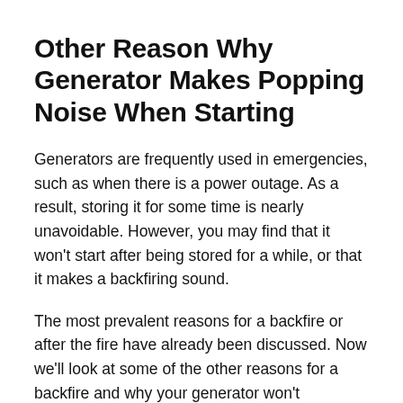Other Reason Why Generator Makes Popping Noise When Starting
Generators are frequently used in emergencies, such as when there is a power outage. As a result, storing it for some time is nearly unavoidable. However, you may find that it won't start after being stored for a while, or that it makes a backfiring sound.
The most prevalent reasons for a backfire or after the fire have already been discussed. Now we'll look at some of the other reasons for a backfire and why your generator won't